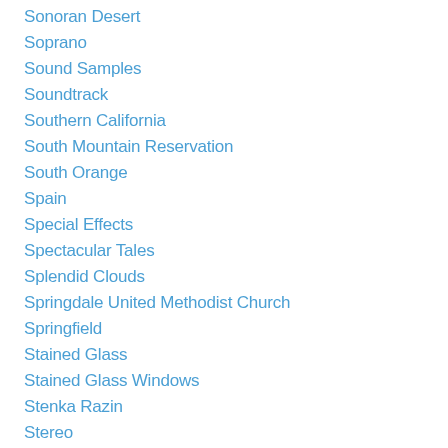Sonoran Desert
Soprano
Sound Samples
Soundtrack
Southern California
South Mountain Reservation
South Orange
Spain
Special Effects
Spectacular Tales
Splendid Clouds
Springdale United Methodist Church
Springfield
Stained Glass
Stained Glass Windows
Stenka Razin
Stereo
Stippling
Stippling Technique
St. Louis
Streams Of Light